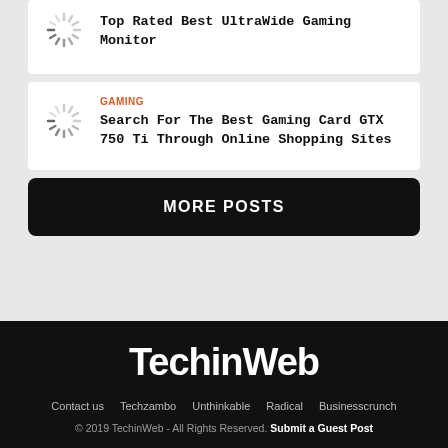[Figure (other): Loading spinner icon]
Top Rated Best UltraWide Gaming Monitor
GAMING
[Figure (other): Loading spinner icon]
Search For The Best Gaming Card GTX 750 Ti Through Online Shopping Sites
MORE POSTS
TechinWeb
Contact us  Techzambo  Unthinkable  Radical  Businesscrunch
© 2019 TechinWeb - All Rights Reserved. Submit a Guest Post